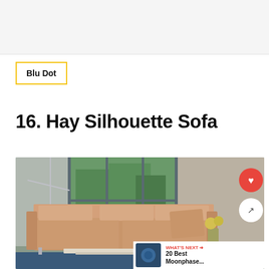[Figure (other): Top banner/advertisement area with light gray background]
[Figure (logo): Blu Dot logo in a yellow-bordered box]
16. Hay Silhouette Sofa
[Figure (photo): Photo of a tan/caramel leather Hay Silhouette Sofa in a bright room with large windows, green trees visible outside, floor lamp on the left, flowers on the right. Heart and share UI buttons overlay top right. 'What's Next' promo bar at bottom right showing '20 Best Moonphase...']